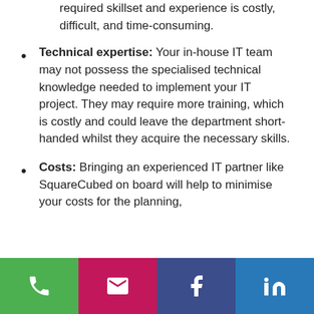required skillset and experience is costly, difficult, and time-consuming.
Technical expertise: Your in-house IT team may not possess the specialised technical knowledge needed to implement your IT project. They may require more training, which is costly and could leave the department short-handed whilst they acquire the necessary skills.
Costs: Bringing an experienced IT partner like SquareCubed on board will help to minimise your costs for the planning,
[Figure (infographic): Footer bar with four colored contact icons: green phone, pink/magenta email, dark navy Facebook, blue LinkedIn]